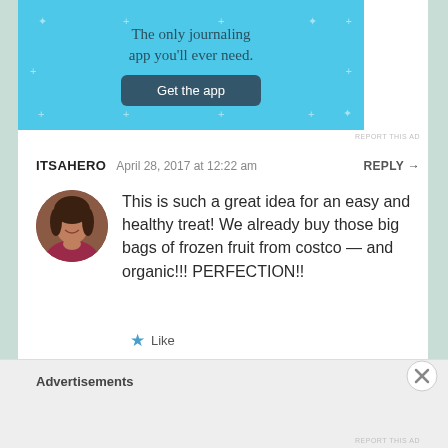[Figure (screenshot): App advertisement banner with light blue background reading 'The only journaling app you'll ever need.' with a dark blue 'Get the app' button]
REPORT THIS AD
ITSAHERO   April 28, 2017 at 12:22 am   REPLY →
This is such a great idea for an easy and healthy treat! We already buy those big bags of frozen fruit from costco — and organic!!! PERFECTION!!
★ Like
Advertisements
REPORT THIS AD